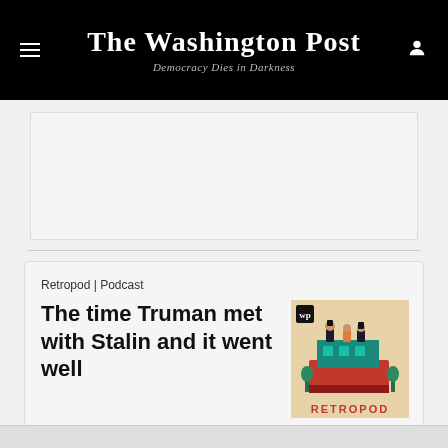The Washington Post — Democracy Dies in Darkness
[Figure (other): Advertisement placeholder area, light gray box]
Retropod | Podcast
The time Truman met with Stalin and it went well
[Figure (illustration): Retropod podcast cover art: illustrated figures in historical costumes on a red/teal structure, text RETROPOD at bottom, WP logo at top left, on beige background]